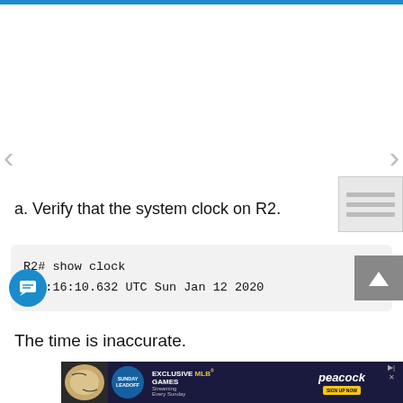a. Verify that the system clock on R2.
R2# show clock
*12:16:10.632 UTC Sun Jan 12 2020
The time is inaccurate.
[Figure (screenshot): Advertisement banner for Peacock MLB Sunday Leadoff streaming.]